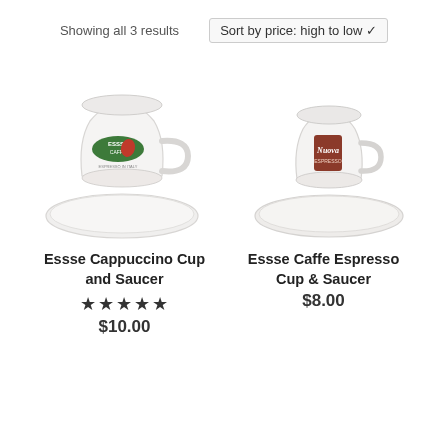Showing all 3 results
Sort by price: high to low ▾
[Figure (photo): White cappuccino cup with Essse Caffe logo on a white saucer]
Essse Cappuccino Cup and Saucer
★★★★★
$10.00
[Figure (photo): White espresso cup with brown Essse Caffe label on a white saucer]
Essse Caffe Espresso Cup & Saucer
$8.00